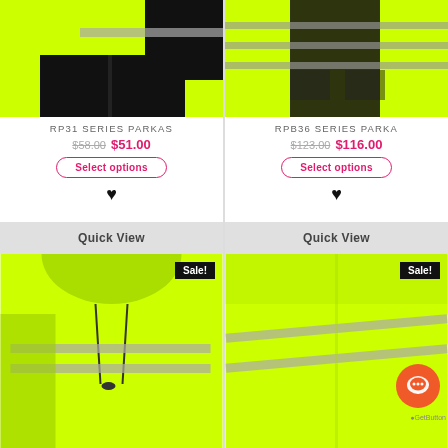[Figure (photo): High-visibility yellow parka jacket with black contrast and reflective strips - RP31 Series]
RP31 SERIES PARKAS
$58.00  $51.00
Select options
[Figure (photo): High-visibility yellow parka jacket with black contrast and multiple reflective strips - RPB36 Series]
RPB36 SERIES PARKA
$123.00  $116.00
Select options
Quick View
Quick View
[Figure (photo): High-visibility yellow hoodie sweatshirt with reflective stripes - Sale item]
[Figure (photo): High-visibility yellow long-sleeve shirt with reflective stripes - Sale item]